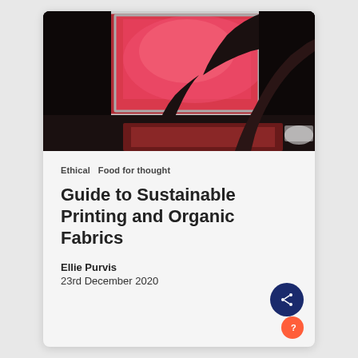[Figure (photo): Person screen-printing with a red ink squeegee on a screen printing frame, viewed from above, dark background with red and orange tones]
Ethical   Food for thought
Guide to Sustainable Printing and Organic Fabrics
Ellie Purvis
23rd December 2020